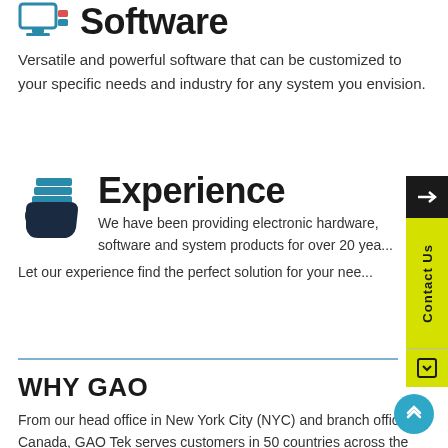Software
Versatile and powerful software that can be customized to your specific needs and industry for any system you envision.
Experience
We have been providing electronic hardware, software and system products for over 20 years. Let our experience find the perfect solution for your needs.
WHY GAO
From our head office in New York City (NYC) and branch office in Canada, GAO Tek serves customers in 50 countries across the globe. Whether it is the USA and Canada, Asian countries such as Philippines, Malaysia